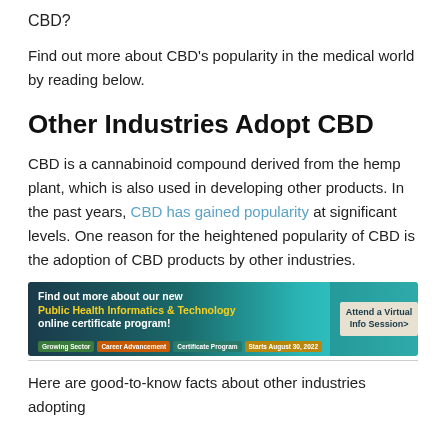CBD?
Find out more about CBD's popularity in the medical world by reading below.
Other Industries Adopt CBD
CBD is a cannabinoid compound derived from the hemp plant, which is also used in developing other products. In the past years, CBD has gained popularity at significant levels. One reason for the heightened popularity of CBD is the adoption of CBD products by other industries.
[Figure (other): Advertisement banner for Dominican University New York - Public Health Informatics & Technology online certificate program with 'Attend a Virtual Info Session' button]
Here are good-to-know facts about other industries adopting